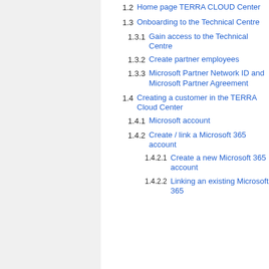1.2 Home page TERRA CLOUD Center
1.3 Onboarding to the Technical Centre
1.3.1 Gain access to the Technical Centre
1.3.2 Create partner employees
1.3.3 Microsoft Partner Network ID and Microsoft Partner Agreement
1.4 Creating a customer in the TERRA Cloud Center
1.4.1 Microsoft account
1.4.2 Create / link a Microsoft 365 account
1.4.2.1 Create a new Microsoft 365 account
1.4.2.2 Linking an existing Microsoft 365